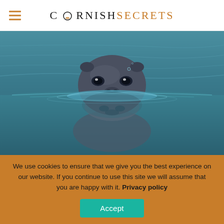CORNISH SECRETS
[Figure (photo): Close-up of a grey seal swimming at the water surface, looking directly at camera, with its reflection visible below the waterline. Blue-grey teal water background.]
We use cookies to ensure that we give you the best experience on our website. If you continue to use this site we will assume that you are happy with it. Privacy policy
Accept